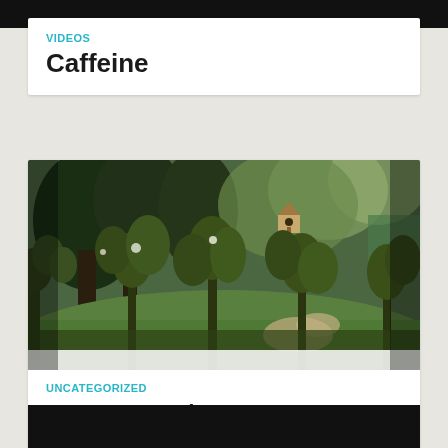VIDEOS
Caffeine
[Figure (photo): Garden scene with lush green plants in the foreground, trees in the background, a birdhouse, and a path leading through the garden on a sunny day]
UNCATEGORIZED
Get Your Garden Summer Sunshine Ready
[Figure (photo): Dark black panel with blue geometric/triangle pattern bar at the bottom]